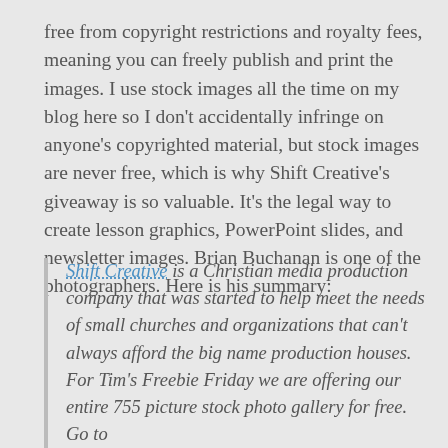free from copyright restrictions and royalty fees, meaning you can freely publish and print the images. I use stock images all the time on my blog here so I don't accidentally infringe on anyone's copyrighted material, but stock images are never free, which is why Shift Creative's giveaway is so valuable. It's the legal way to create lesson graphics, PowerPoint slides, and newsletter images. Brian Buchanan is one of the photographers. Here is his summary:
Shift Creative is a Christian media production company that was started to help meet the needs of small churches and organizations that can't always afford the big name production houses. For Tim's Freebie Friday we are offering our entire 755 picture stock photo gallery for free. Go to